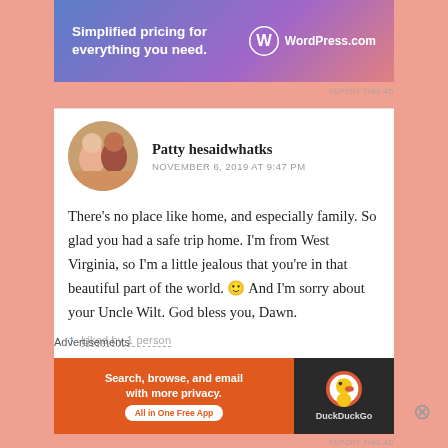[Figure (screenshot): WordPress.com banner ad: 'Simplified pricing for everything you need.' with WordPress logo]
REPORT THIS AD
Patty hesaidwhatks
NOVEMBER 6, 2019 AT 9:47 PM
There's no place like home, and especially family. So glad you had a safe trip home. I'm from West Virginia, so I'm a little jealous that you're in that beautiful part of the world. 🙂 And I'm sorry about your Uncle Wilt. God bless you, Dawn.
Liked by 1 person
Advertisements
[Figure (screenshot): DuckDuckGo banner ad: 'Search, browse, and email with more privacy. All in One Free App']